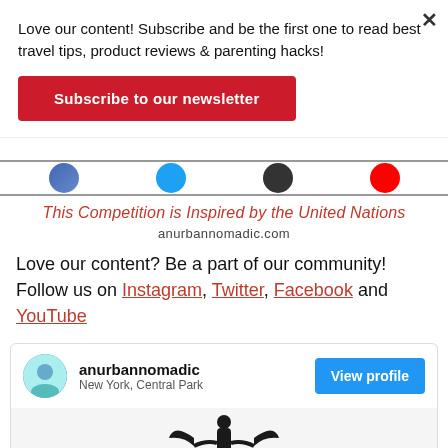Love our content! Subscribe and be the first one to read best travel tips, product reviews & parenting hacks!
Subscribe to our newsletter
[Figure (illustration): Row of circular social media icon buttons partially visible]
This Competition is Inspired by the United Nations
anurbannomadic.com
Love our content? Be a part of our community! Follow us on Instagram, Twitter, Facebook and YouTube
[Figure (screenshot): Instagram-style profile card for anurbannomadic, New York Central Park, with View profile button, and a statue image below]